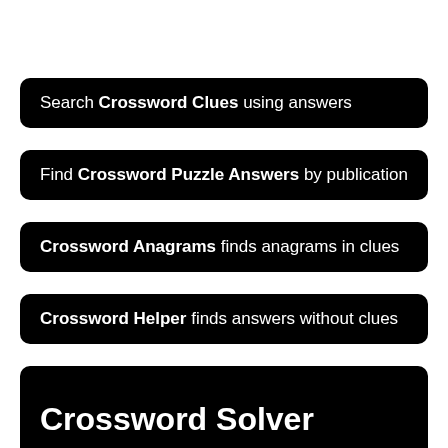Search Crossword Clues using answers
Find Crossword Puzzle Answers by publication
Crossword Anagrams finds anagrams in clues
Crossword Helper finds answers without clues
Dictionary Get definitions for English words
Crossword Solver